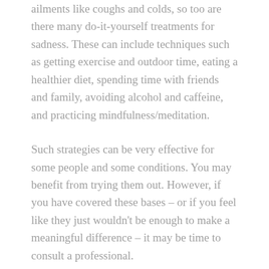ailments like coughs and colds, so too are there many do-it-yourself treatments for sadness. These can include techniques such as getting exercise and outdoor time, eating a healthier diet, spending time with friends and family, avoiding alcohol and caffeine, and practicing mindfulness/meditation.
Such strategies can be very effective for some people and some conditions. You may benefit from trying them out. However, if you have covered these bases – or if you feel like they just wouldn't be enough to make a meaningful difference – it may be time to consult a professional.